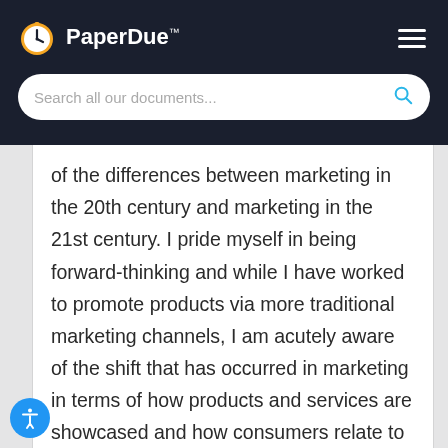PaperDue™
of the differences between marketing in the 20th century and marketing in the 21st century. I pride myself in being forward-thinking and while I have worked to promote products via more traditional marketing channels, I am acutely aware of the shift that has occurred in marketing in terms of how products and services are showcased and how consumers relate to those services and products. Branding and brand definitions have changed and become more interactive and relationship-